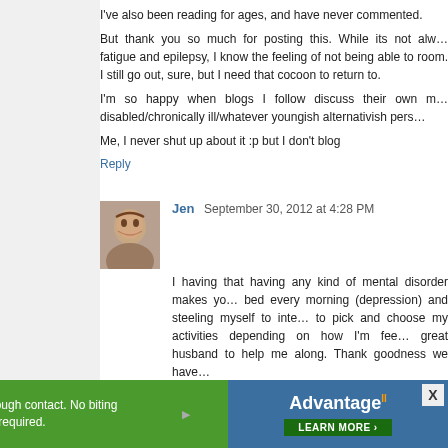I've also been reading for ages, and have never commented.
But thank you so much for posting this. While its not always fatigue and epilepsy, I know the feeling of not being able to room. I still go out, sure, but I need that cocoon to return to.
I'm so happy when blogs I follow discuss their own m… disabled/chronically ill/whatever youngish alternativish pers…
Me, I never shut up about it :p but I don't blog
Reply
Jen  September 30, 2012 at 4:28 PM
I having that having any kind of mental disorder makes yo… bed every morning (depression) and steeling myself to inte… to pick and choose my activities depending on how I'm fee… great husband to help me along. Thank goodness we have…
Reply
KT Jayne  September 30, 2012 at 4:31 PM
As someone who can't always handle down escalator…
[Figure (other): Advertisement banner: green background, text 'Kills fleas through contact. No biting required.' with Advantage II logo and 'LEARN MORE' button in blue. Close X button visible.]